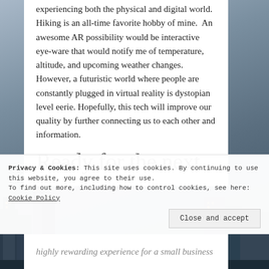experiencing both the physical and digital world. Hiking is an all-time favorite hobby of mine. An awesome AR possibility would be interactive eye-ware that would notify me of temperature, altitude, and upcoming weather changes. However, a futuristic world where people are constantly plugged in virtual reality is dystopian level eerie. Hopefully, this tech will improve our quality by further connecting us to each other and information.
Ready for the next
Privacy & Cookies: This site uses cookies. By continuing to use this website, you agree to their use. To find out more, including how to control cookies, see here: Cookie Policy
highly rewarding experience for a small business